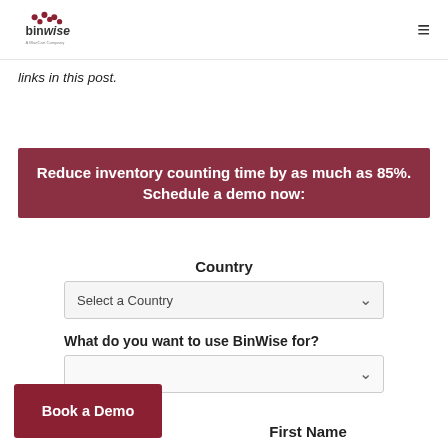BinWise - A BlueCart Company
links in this post.
Reduce inventory counting time by as much as 85%. Schedule a demo now:
Country
Select a Country
What do you want to use BinWise for?
Book a Demo
First Name